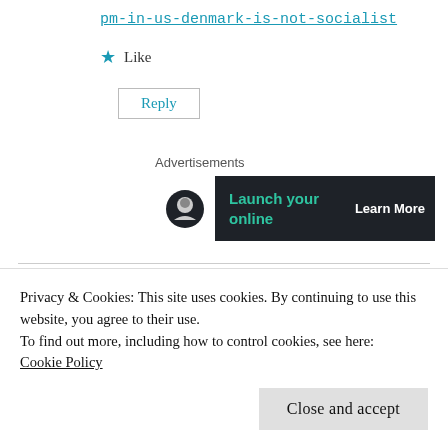pm-in-us-denmark-is-not-socialist
★ Like
Reply
Advertisements
[Figure (screenshot): Advertisement banner with dark background showing 'Launch your online' text in teal and 'Learn More' in white, with a circular icon on the left]
Privacy & Cookies: This site uses cookies. By continuing to use this website, you agree to their use.
To find out more, including how to control cookies, see here:
Cookie Policy
Close and accept
were blessed by Communism.